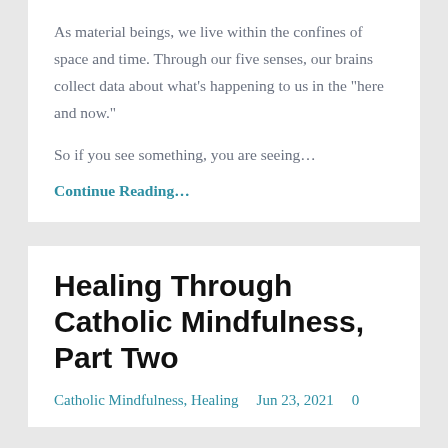As material beings, we live within the confines of space and time. Through our five senses, our brains collect data about what’s happening to us in the “here and now.”
So if you see something, you are seeing…
Continue Reading…
Healing Through Catholic Mindfulness, Part Two
Catholic Mindfulness, Healing    Jun 23, 2021    0